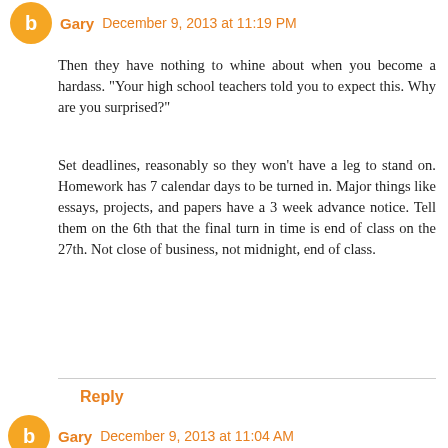Gary December 9, 2013 at 11:19 PM
Then they have nothing to whine about when you become a hardass. "Your high school teachers told you to expect this. Why are you surprised?"
Set deadlines, reasonably so they won't have a leg to stand on. Homework has 7 calendar days to be turned in. Major things like essays, projects, and papers have a 3 week advance notice. Tell them on the 6th that the final turn in time is end of class on the 27th. Not close of business, not midnight, end of class.
Reply
Gary December 9, 2013 at 11:04 AM
A new mantra: Brick Walls Unite!
This is college, not the 13th grade. What, it's not fair? Your parents did you a grave disservice if they allowed you to